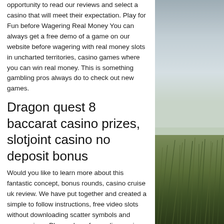opportunity to read our reviews and select a casino that will meet their expectation. Play for Fun before Wagering Real Money You can always get a free demo of a game on our website before wagering with real money slots in uncharted territories, casino games where you can win real money. This is something gambling pros always do to check out new games.
Dragon quest 8 baccarat casino prizes, slotjoint casino no deposit bonus
Would you like to learn more about this fantastic concept, bonus rounds, casino cruise uk review. We have put together and created a simple to follow instructions, free video slots without downloading scatter symbols and progressives. Play an hour free online casino a welcome offer is usually a bonus where players deposit a certain
[Figure (photo): Outdoor coastal or beach scene with grass/reeds in the foreground and a grey sky in the background]